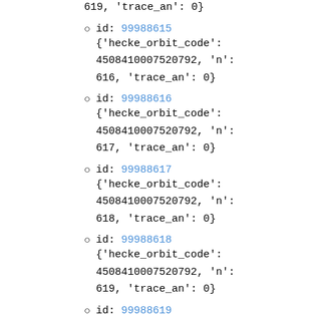id: 99988615 {'hecke_orbit_code': 4508410007520792, 'n': 616, 'trace_an': 0}
id: 99988616 {'hecke_orbit_code': 4508410007520792, 'n': 617, 'trace_an': 0}
id: 99988617 {'hecke_orbit_code': 4508410007520792, 'n': 618, 'trace_an': 0}
id: 99988618 {'hecke_orbit_code': 4508410007520792, 'n': 619, 'trace_an': 0}
id: 99988619 {'hecke_orbit_code': 4508410007520792, 'n': 620, 'trace_an': 4}